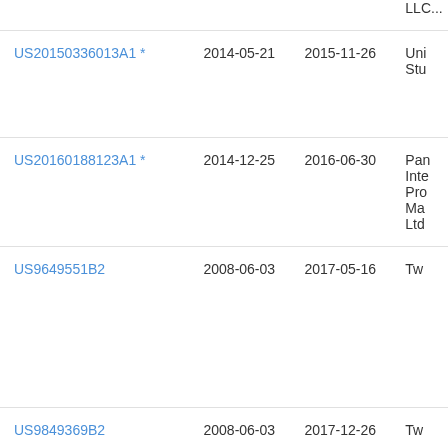| Patent | Filed | Published | Assignee |
| --- | --- | --- | --- |
| (truncated) |  |  | LLC... |
| US20150336013A1 * | 2014-05-21 | 2015-11-26 | Uni Stu... |
| US20160188123A1 * | 2014-12-25 | 2016-06-30 | Pan Inte Pro Ma Ltd... |
| US9649551B2 | 2008-06-03 | 2017-05-16 | Tw... |
| US9849369B2 | 2008-06-03 | 2017-12-26 | Tw... |